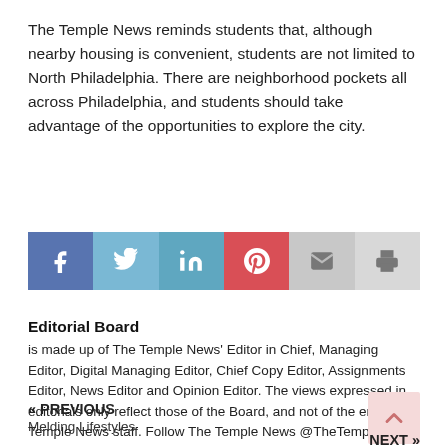The Temple News reminds students that, although nearby housing is convenient, students are not limited to North Philadelphia. There are neighborhood pockets all across Philadelphia, and students should take advantage of the opportunities to explore the city.
[Figure (infographic): Social media sharing bar with icons for Facebook, Twitter, LinkedIn, Pinterest, Email, and Print]
Editorial Board
is made up of The Temple News' Editor in Chief, Managing Editor, Digital Managing Editor, Chief Copy Editor, Assignments Editor, News Editor and Opinion Editor. The views expressed in editorials only reflect those of the Board, and not of the entire Temple News staff. Follow The Temple News @TheTempleNews.
« PREVIOUS
Melding Lifestyles
NEXT »